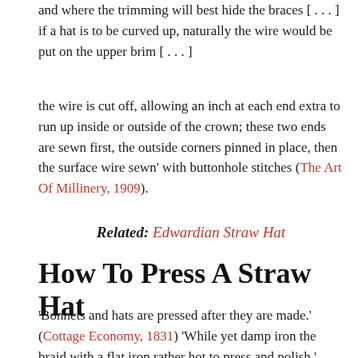and where the trimming will best hide the braces [...] if a hat is to be curved up, naturally the wire would be put on the upper brim [...]
the wire is cut off, allowing an inch at each end extra to run up inside or outside of the crown; these two ends are sewn first, the outside corners pinned in place, then the surface wire sewn' with buttonhole stitches (The Art Of Millinery, 1909).
Related: Edwardian Straw Hat
How To Press A Straw Hat
'Bonnets and hats are pressed after they are made.' (Cottage Economy, 1831) 'While yet damp iron the braid with a flat iron rather hot to press and polish.' (Southern Cultivator, 1880)